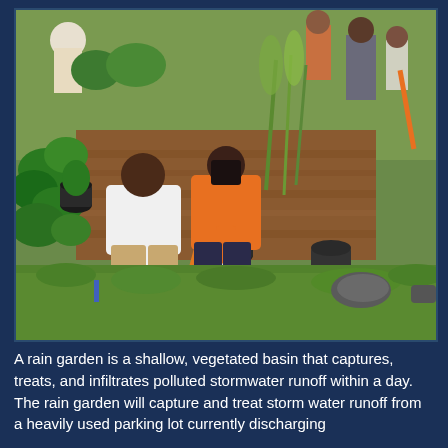[Figure (photo): People planting a rain garden. Two people in the foreground are crouching down to plant native vegetation in a prepared soil bed. One person wears a white shirt, the other an orange long-sleeve shirt. Several other people in work gloves and casual clothes are visible in the background. Black planting buckets and an orange-handled shovel are visible. Lush green plants and grass surround the planting area.]
A rain garden is a shallow, vegetated basin that captures, treats, and infiltrates polluted stormwater runoff within a day. The rain garden will capture and treat storm water runoff from a heavily used parking lot currently discharging